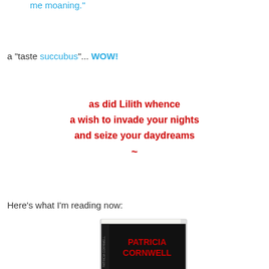me moaning."
a "taste succubus"... WOW!
as did Lilith whence
a wish to invade your nights
and seize your daydreams
~
Here's what I'm reading now:
[Figure (photo): Book cover of a Patricia Cornwell novel — dark/black cover with red text showing author name PATRICIA CORNWELL]